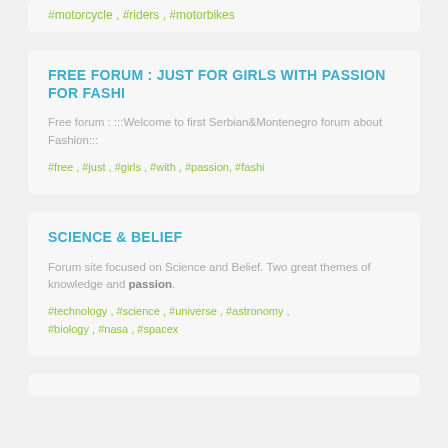#motorcycle , #riders , #motorbikes
FREE FORUM : JUST FOR GIRLS WITH PASSION FOR FASHI
Free forum : :::Welcome to first Serbian&Montenegro forum about Fashion:::
#free , #just , #girls , #with , #passion, #fashi
SCIENCE & BELIEF
Forum site focused on Science and Belief. Two great themes of knowledge and passion.
#technology , #science , #universe , #astronomy , #biology , #nasa , #spacex